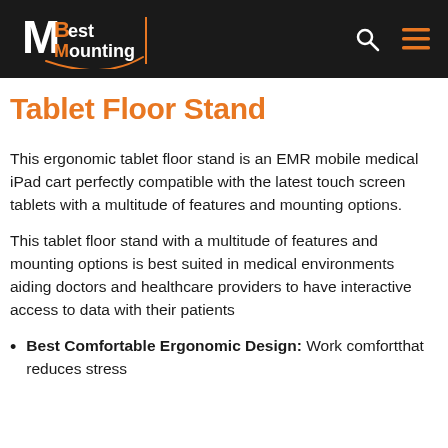MBest Mounting
Tablet Floor Stand
This ergonomic tablet floor stand is an EMR mobile medical iPad cart perfectly compatible with the latest touch screen tablets with a multitude of features and mounting options.
This tablet floor stand with a multitude of features and mounting options is best suited in medical environments aiding doctors and healthcare providers to have interactive access to data with their patients
Best Comfortable Ergonomic Design: Work comfortthat reduces stress